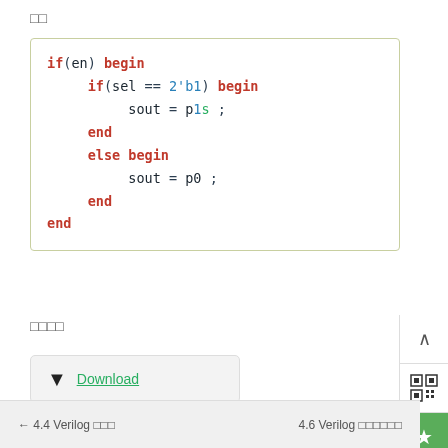□□
[Figure (screenshot): Verilog code snippet showing an if-else begin-end block with sel comparison and sout assignments]
□□□□
Download
← 4.4 Verilog □□□    4.6 Verilog □□□□□□